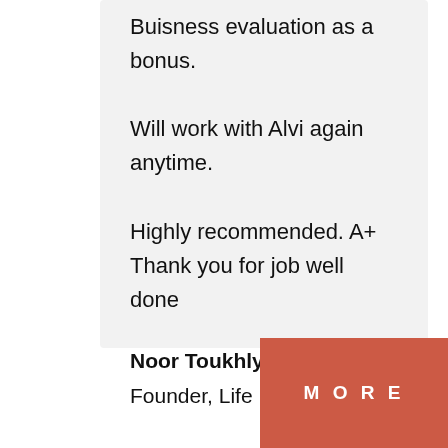Buisness evaluation as a bonus. Will work with Alvi again anytime. Highly recommended. A+ Thank you for job well done
Noor Toukhly-Chehab
Founder, Life International Academy
MORE